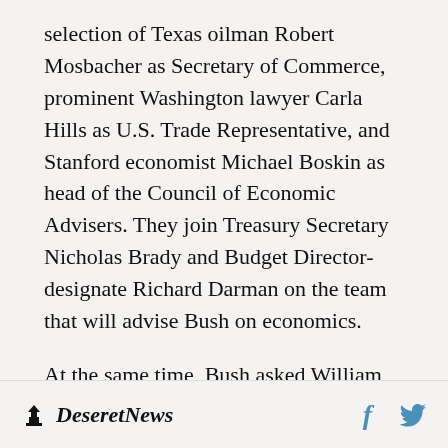selection of Texas oilman Robert Mosbacher as Secretary of Commerce, prominent Washington lawyer Carla Hills as U.S. Trade Representative, and Stanford economist Michael Boskin as head of the Council of Economic Advisers. They join Treasury Secretary Nicholas Brady and Budget Director-designate Richard Darman on the team that will advise Bush on economics.
At the same time, Bush asked William Webster to stay on as director of the Central Intelligence Agency and tapped veteran envoy Thomas Pickering as ambassador to the United Nations.
Deseret News  f  [twitter bird]